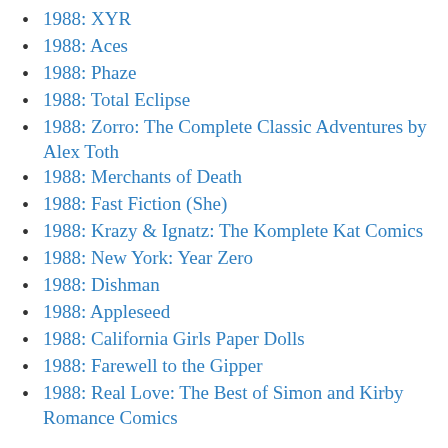1988: XYR
1988: Aces
1988: Phaze
1988: Total Eclipse
1988: Zorro: The Complete Classic Adventures by Alex Toth
1988: Merchants of Death
1988: Fast Fiction (She)
1988: Krazy & Ignatz: The Komplete Kat Comics
1988: New York: Year Zero
1988: Dishman
1988: Appleseed
1988: California Girls Paper Dolls
1988: Farewell to the Gipper
1988: Real Love: The Best of Simon and Kirby Romance Comics